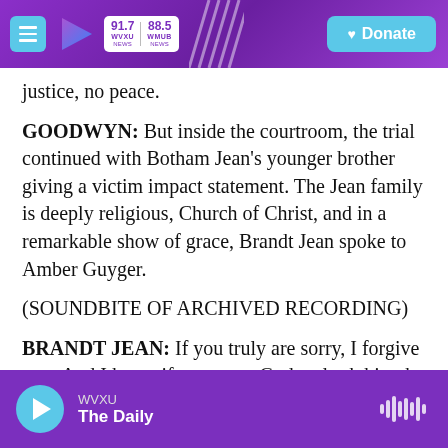WVXU 91.7 NEWS | WMUB 88.5 NEWS | Donate
justice, no peace.
GOODWYN: But inside the courtroom, the trial continued with Botham Jean's younger brother giving a victim impact statement. The Jean family is deeply religious, Church of Christ, and in a remarkable show of grace, Brandt Jean spoke to Amber Guyger.
(SOUNDBITE OF ARCHIVED RECORDING)
BRANDT JEAN: If you truly are sorry, I forgive you. And I know if you go to God and ask him, he will
WVXU — The Daily